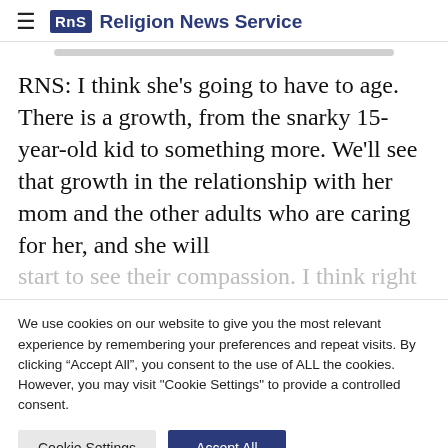RNS Religion News Service
RNS: I think she's going to have to age. There is a growth, from the snarky 15-year-old kid to something more. We'll see that growth in the relationship with her mom and the other adults who are caring for her, and she will start to see their compassion. I think right
We use cookies on our website to give you the most relevant experience by remembering your preferences and repeat visits. By clicking "Accept All", you consent to the use of ALL the cookies. However, you may visit "Cookie Settings" to provide a controlled consent.